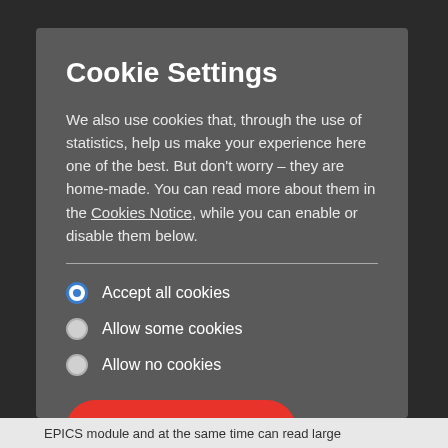Cookie Settings
We also use cookies that, through the use of statistics, help us make your experience here one of the best. But don't worry – they are home-made. You can read more about them in the Cookies Notice, while you can enable or disable them below.
Accept all cookies
Allow some cookies
Allow no cookies
SAVE SETTINGS
EPICS module and at the same time can read large